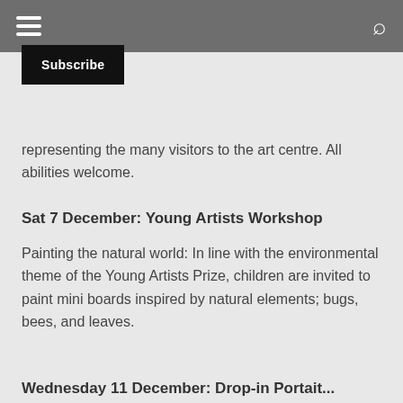☰  🔍
Subscribe
representing the many visitors to the art centre. All abilities welcome.
Sat 7 December: Young Artists Workshop
Painting the natural world: In line with the environmental theme of the Young Artists Prize, children are invited to paint mini boards inspired by natural elements; bugs, bees, and leaves.
Wednesday 11 December: Drop-in Portrait...